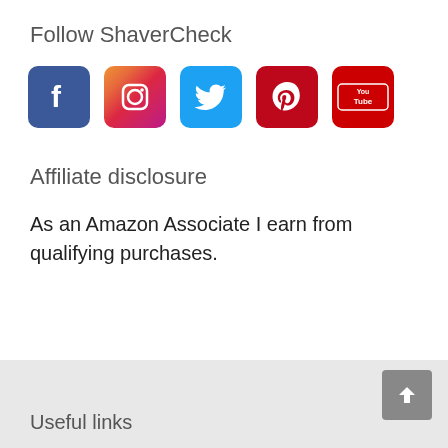Follow ShaverCheck
[Figure (infographic): Social media icons row: Facebook (blue), Instagram (gradient pink/purple), Twitter (light blue), Pinterest (red), YouTube (red with 'You Tube' text)]
Affiliate disclosure
As an Amazon Associate I earn from qualifying purchases.
Useful links